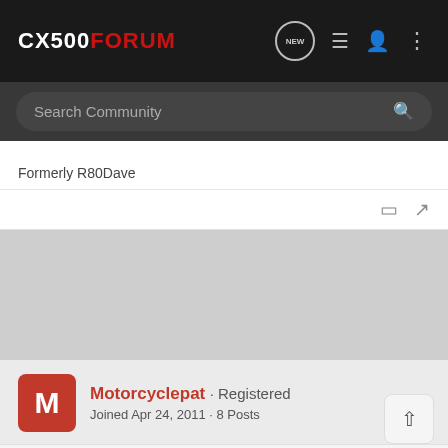CX500FORUM
Search Community
Formerly R80Dave
Motorcyclepat · Registered
Joined Apr 24, 2011 · 8 Posts
Discussion Starter · #5 · Apr 24, 2011
Thanks Rick,